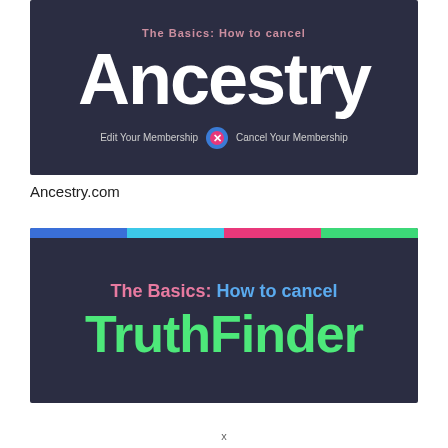[Figure (screenshot): Screenshot of Ancestry.com website header showing the word 'Ancestry' in large white bold text on a dark navy background, with partial text about canceling membership at the bottom.]
Ancestry.com
[Figure (screenshot): Screenshot showing colorful bar at top (blue, cyan, pink, green segments) above a dark navy background with text reading 'The Basics: How to cancel' in pink and blue, and 'TruthFinder' in large bold green text.]